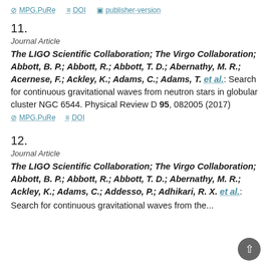MPG.PuRe   DOI   publisher-version
11.
Journal Article
The LIGO Scientific Collaboration; The Virgo Collaboration; Abbott, B. P.; Abbott, R.; Abbott, T. D.; Abernathy, M. R.; Acernese, F.; Ackley, K.; Adams, C.; Adams, T. et al.: Search for continuous gravitational waves from neutron stars in globular cluster NGC 6544. Physical Review D 95, 082005 (2017)
MPG.PuRe   DOI
12.
Journal Article
The LIGO Scientific Collaboration; The Virgo Collaboration; Abbott, B. P.; Abbott, R.; Abbott, T. D.; Abernathy, M. R.; Ackley, K.; Adams, C.; Addesso, P.; Adhikari, R. X. et al.: Search for continuous gravitational waves from the...